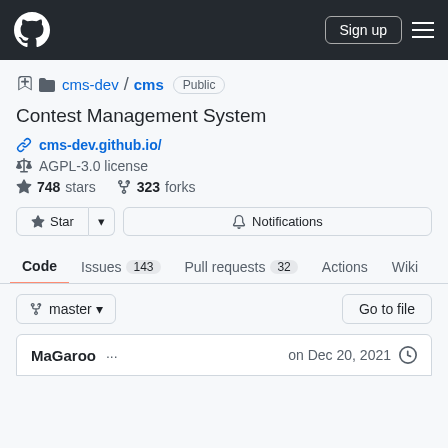GitHub navigation bar with logo, Sign up button, and hamburger menu
cms-dev / cms  Public
Contest Management System
cms-dev.github.io/
AGPL-3.0 license
748 stars   323 forks
Star  Notifications
Code  Issues 143  Pull requests 32  Actions  Wiki
master  Go to file
MaGaroo ...   on Dec 20, 2021